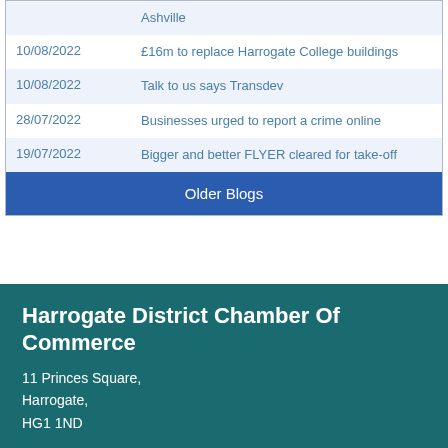| Date | Title |
| --- | --- |
|  | Ashville |
| 10/08/2022 | £16m to replace Harrogate College buildings |
| 10/08/2022 | Talk to us says Transdev |
| 28/07/2022 | Businesses urged to report a crime online |
| 19/07/2022 | Bigger and better FLYER cleared for take-off |
|  | Older Blogs |
Harrogate District Chamber Of Commerce
11 Princes Square,
Harrogate,
HG1 1ND